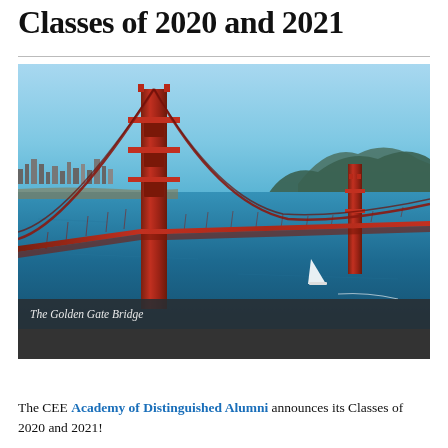Classes of 2020 and 2021
[Figure (photo): Aerial photograph of the Golden Gate Bridge in San Francisco, showing the iconic red suspension bridge spanning the bay with the city skyline in the background and blue waters below. A white sailboat is visible in the water.]
The Golden Gate Bridge
The CEE Academy of Distinguished Alumni announces its Classes of 2020 and 2021!